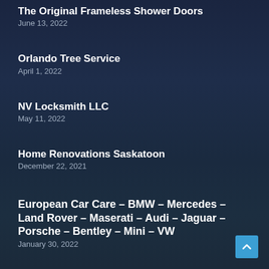The Original Frameless Shower Doors
June 13, 2022
Orlando Tree Service
April 1, 2022
NV Locksmith LLC
May 11, 2022
Home Renovations Saskatoon
December 22, 2021
European Car Care – BMW – Mercedes – Land Rover – Maserati – Audi – Jaguar – Porsche – Bentley – Mini – VW
January 30, 2022